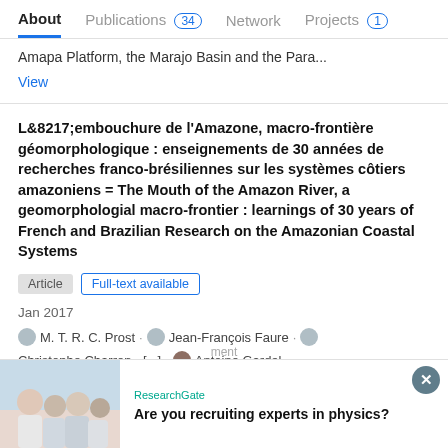About | Publications 34 | Network | Projects 1
Amapa Platform, the Marajo Basin and the Para...
View
L&8217;embouchure de l'Amazone, macro-frontière géomorphologique : enseignements de 30 années de recherches franco-brésiliennes sur les systèmes côtiers amazoniens = The Mouth of the Amazon River, a geomorphologial macro-frontier : learnings of 30 years of French and Brazilian Research on the Amazonian Coastal Systems
Article | Full-text available
Jan 2017
M. T. R. C. Prost · Jean-François Faure · Christophe Charron · [...] · Antoine Gardel
[Figure (photo): ResearchGate advertisement banner with photo of researchers and text: Are you recruiting experts in physics?]